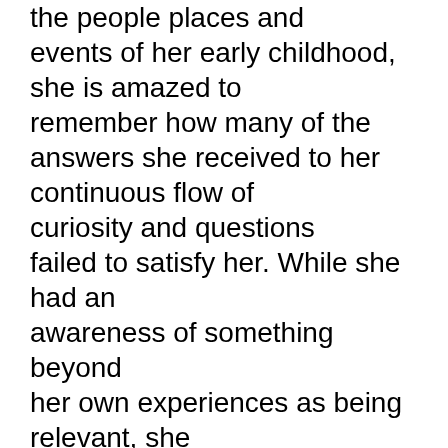the people places and events of her early childhood, she is amazed to remember how many of the answers she received to her continuous flow of curiosity and questions failed to satisfy her. While she had an awareness of something beyond her own experiences as being relevant, she wasn't clear on the source of these feelings of something beyond what she could see hear or feel, and when the time was right, she read the book by Master Ryoho Okawa The Laws of the Sun and became a member of his organization Happy Science furthering her spiritual growth. She believes